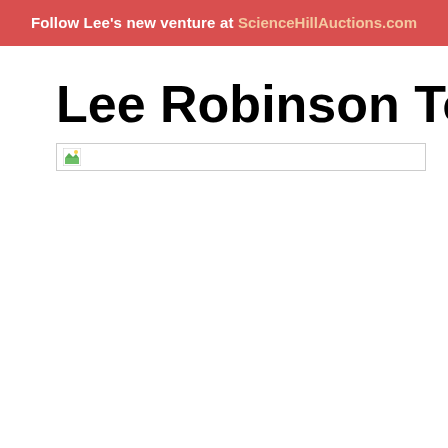Follow Lee's new venture at ScienceHillAuctions.com
Lee Robinson Today's Woman
[Figure (other): Broken image placeholder with a small landscape icon thumbnail and a horizontal border line]